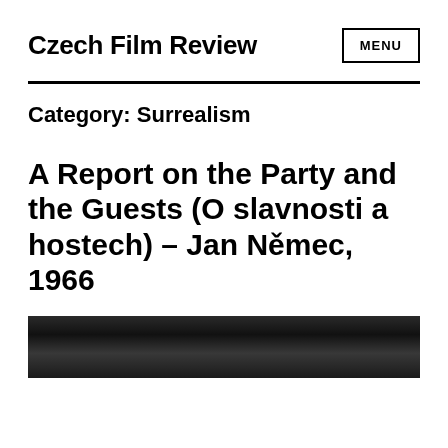Czech Film Review
Category: Surrealism
A Report on the Party and the Guests (O slavnosti a hostech) – Jan Němec, 1966
[Figure (photo): Black and white film still from the movie, showing a dark outdoor scene with figures among trees.]